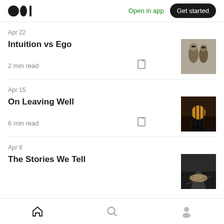Medium logo | Open in app | Get started
Apr 22
Intuition vs Ego
2 min read
Apr 15
On Leaving Well
6 min read
Apr 8
The Stories We Tell
Home | Search | Profile